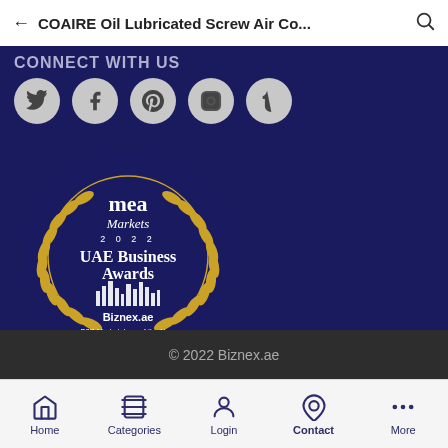← COAIRE Oil Lubricated Screw Air Co...
CONNECT WITH US
[Figure (illustration): Social media icons row: Twitter, Facebook, Pinterest, Instagram, Tumblr — grey circles on dark navy background]
[Figure (logo): MEA Markets 2022 UAE Business Awards winner badge — circular golden laurel wreath with text: mea markets 2022, UAE Business Awards, Biznex.ae, B2B Marketplace of the Year 2022, winner]
© 2022 Biznex.ae
Home  Categories  Login  Contact  More